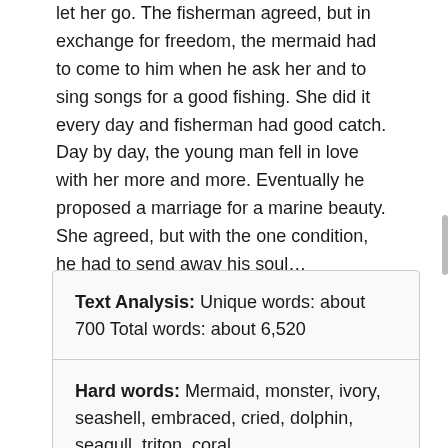let her go. The fisherman agreed, but in exchange for freedom, the mermaid had to come to him when he ask her and to sing songs for a good fishing. She did it every day and fisherman had good catch. Day by day, the young man fell in love with her more and more. Eventually he proposed a marriage for a marine beauty. She agreed, but with the one condition, he had to send away his soul…
Text Analysis: Unique words: about 700 Total words: about 6,520
Hard words: Mermaid, monster, ivory, seashell, embraced, cried, dolphin, seagull, triton, coral,